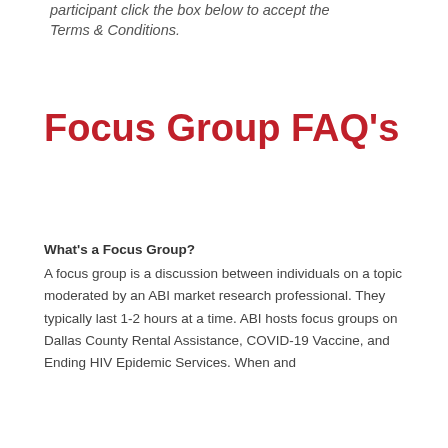participant click the box below to accept the Terms & Conditions.
Focus Group FAQ's
What's a Focus Group?
A focus group is a discussion between individuals on a topic moderated by an ABI market research professional. They typically last 1-2 hours at a time. ABI hosts focus groups on Dallas County Rental Assistance, COVID-19 Vaccine, and Ending HIV Epidemic Services. When and